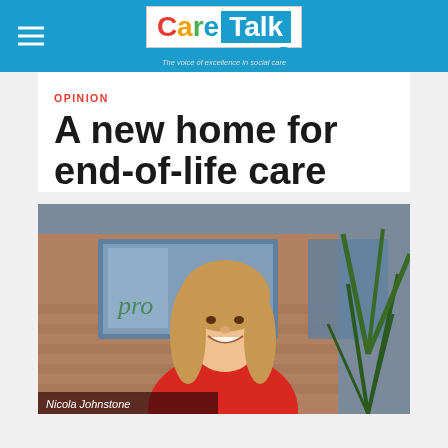Care Talk — The voice of excellence in social care
OPINION
A new home for end-of-life care
[Figure (photo): Portrait photo of Nicola Johnstone standing outside a building with plants in the background, wearing a red top. Caption reads: Nicola Johnstone]
Nicola Johnstone